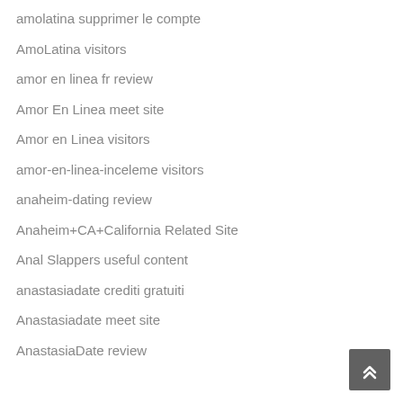amolatina supprimer le compte
AmoLatina visitors
amor en linea fr review
Amor En Linea meet site
Amor en Linea visitors
amor-en-linea-inceleme visitors
anaheim-dating review
Anaheim+CA+California Related Site
Anal Slappers useful content
anastasiadate crediti gratuiti
Anastasiadate meet site
AnastasiaDate review